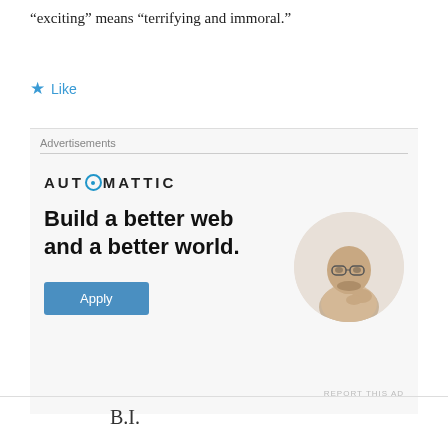“exciting” means “terrifying and immoral.”
★ Like
Advertisements
[Figure (screenshot): Automattic advertisement: logo with stylized 'O', headline 'Build a better web and a better world.', blue Apply button, circular photo of a man thinking, and 'REPORT THIS AD' link.]
B.I.